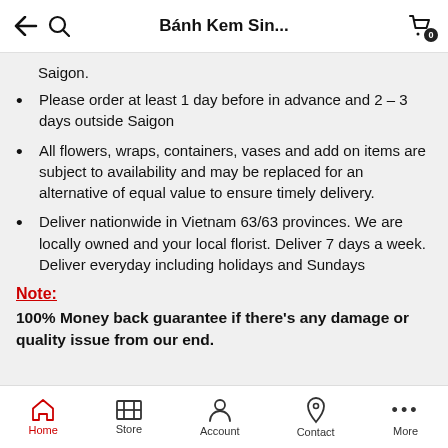Bánh Kem Sin...
Saigon.
Please order at least 1 day before in advance and 2 – 3 days outside Saigon
All flowers, wraps, containers, vases and add on items are subject to availability and may be replaced for an alternative of equal value to ensure timely delivery.
Deliver nationwide in Vietnam 63/63 provinces. We are locally owned and your local florist. Deliver 7 days a week. Deliver everyday including holidays and Sundays
Note:
100% Money back guarantee if there's any damage or quality issue from our end.
Home  Store  Account  Contact  More